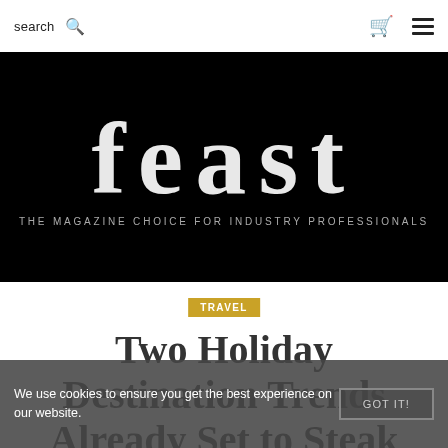search
[Figure (logo): Feast magazine logo on black background — large white serif 'feast' text with tagline 'THE MAGAZINE CHOICE FOR INDUSTRY PROFESSIONALS']
TRAVEL
Two Holiday Destination Trends Already Set to Steak
We use cookies to ensure you get the best experience on our website.